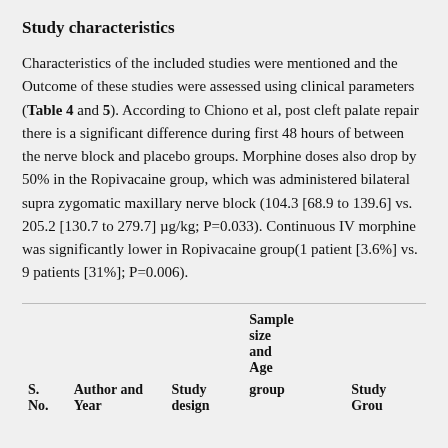Study characteristics
Characteristics of the included studies were mentioned and the Outcome of these studies were assessed using clinical parameters (Table 4 and 5). According to Chiono et al, post cleft palate repair there is a significant difference during first 48 hours of between the nerve block and placebo groups. Morphine doses also drop by 50% in the Ropivacaine group, which was administered bilateral supra zygomatic maxillary nerve block (104.3 [68.9 to 139.6] vs. 205.2 [130.7 to 279.7] µg/kg; P=0.033). Continuous IV morphine was significantly lower in Ropivacaine group(1 patient [3.6%] vs. 9 patients [31%]; P=0.006).
| S. No. | Author and Year | Study design | Sample size and Age group | Study Group |
| --- | --- | --- | --- | --- |